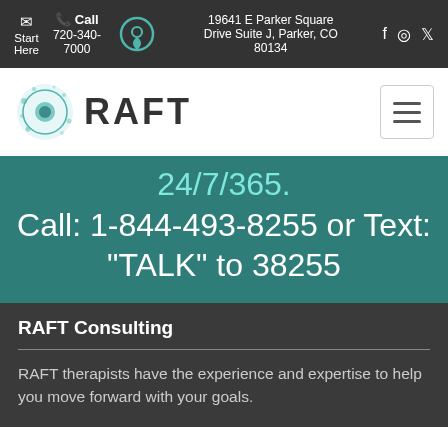Start Here | Call 720-340-7000 | 19641 E Parker Square Drive Suite J, Parker, CO 80134 | [social icons]
[Figure (logo): RAFT therapy logo with teal circular emblem and bold RAFT text]
24/7/365.
Call: 1-844-493-8255 or Text: “TALK” to 38255
RAFT Consulting
RAFT therapists have the experience and expertise to help you move forward with your goals.